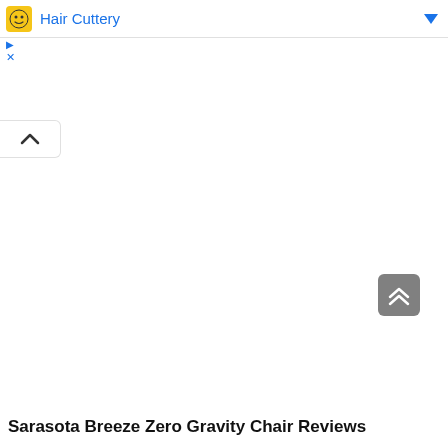[Figure (screenshot): Advertisement bar showing Hair Cuttery logo with yellow icon and blue text, with a blue dropdown arrow on the right, and ad control icons (play triangle and X close) on the left side below]
[Figure (screenshot): Collapse/minimize tab button with upward caret (^) on the left edge of the page]
[Figure (screenshot): Gray scroll-to-top button with double upward chevron arrows on the right side]
Sarasota Breeze Zero Gravity Chair Reviews